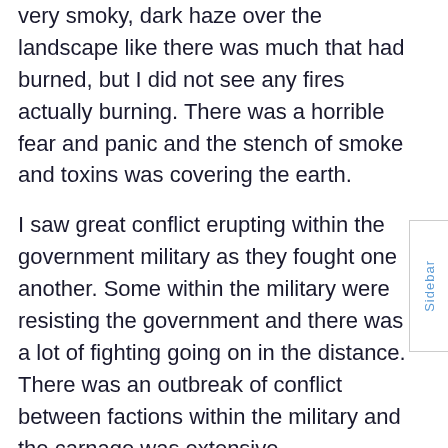very smoky, dark haze over the landscape like there was much that had burned, but I did not see any fires actually burning. There was a horrible fear and panic and the stench of smoke and toxins was covering the earth.
I saw great conflict erupting within the government military as they fought one another. Some within the military were resisting the government and there was a lot of fighting going on in the distance. There was an outbreak of conflict between factions within the military and the carnage was extensive.
I saw military people in what looked like some type of robotic exoskeleton that gave them seemingly